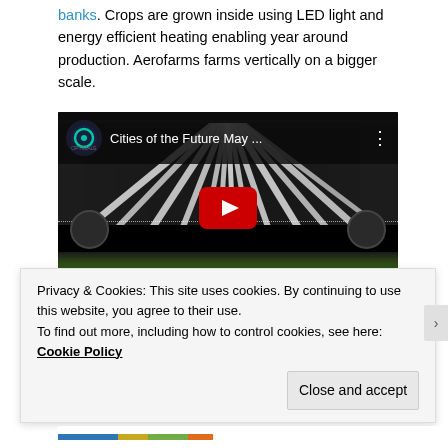banks. Crops are grown inside using LED light and energy efficient heating enabling year around production. Aerofarms farms vertically on a bigger scale.
[Figure (screenshot): YouTube video thumbnail showing indoor vertical farm with LED lighting banks overhead and green crops growing below. Video title reads 'Cities of the Future May ...' with a channel icon and YouTube play button overlay.]
Privacy & Cookies: This site uses cookies. By continuing to use this website, you agree to their use.
To find out more, including how to control cookies, see here: Cookie Policy